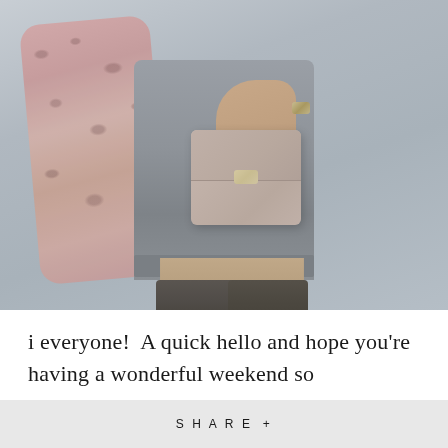[Figure (photo): Fashion photo of a woman from torso down wearing a gray sweater dress, pink leopard print scarf, carrying a beige studded crossbody bag, and wearing over-the-knee dark brown boots. Background is a blurred gray street.]
i everyone!  A quick hello and hope you're having a wonderful weekend so
SHARE +